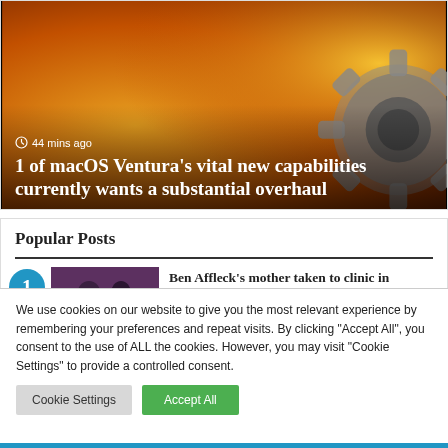[Figure (photo): Article card with macOS gear/cog image on orange background. Shows timestamp '44 mins ago' and headline '1 of macOS Ventura's vital new capabilities currently wants a substantial overhaul']
Popular Posts
[Figure (photo): Thumbnail photo of Ben Affleck with a woman, purple/dark background]
Ben Affleck's mother taken to clinic in advance of actor's marriage
We use cookies on our website to give you the most relevant experience by remembering your preferences and repeat visits. By clicking "Accept All", you consent to the use of ALL the cookies. However, you may visit "Cookie Settings" to provide a controlled consent.